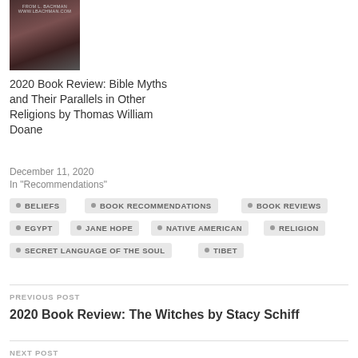[Figure (photo): Book cover image with dark reddish background and author website text]
2020 Book Review: Bible Myths and Their Parallels in Other Religions by Thomas William Doane
December 11, 2020
In "Recommendations"
BELIEFS
BOOK RECOMMENDATIONS
BOOK REVIEWS
EGYPT
JANE HOPE
NATIVE AMERICAN
RELIGION
SECRET LANGUAGE OF THE SOUL
TIBET
PREVIOUS POST
2020 Book Review: The Witches by Stacy Schiff
NEXT POST